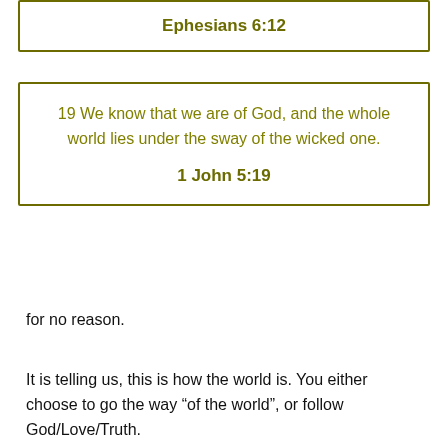Ephesians 6:12
19 We know that we are of God, and the whole world lies under the sway of the wicked one.
1 John 5:19
for no reason.
It is telling us, this is how the world is. You either choose to go the way “of the world”, or follow God/Love/Truth.